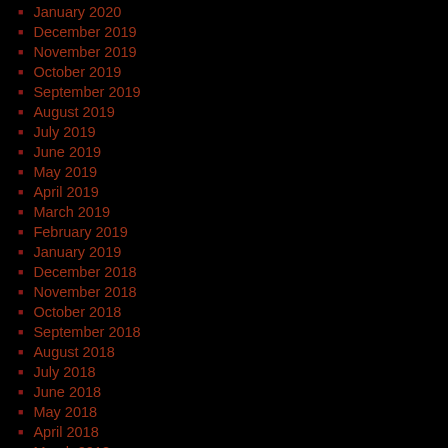January 2020
December 2019
November 2019
October 2019
September 2019
August 2019
July 2019
June 2019
May 2019
April 2019
March 2019
February 2019
January 2019
December 2018
November 2018
October 2018
September 2018
August 2018
July 2018
June 2018
May 2018
April 2018
March 2018
February 2018